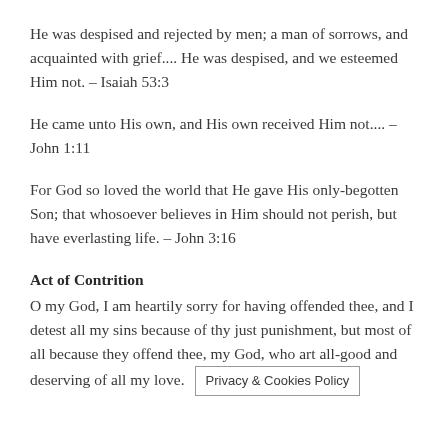He was despised and rejected by men; a man of sorrows, and acquainted with grief.... He was despised, and we esteemed Him not. – Isaiah 53:3
He came unto His own, and His own received Him not.... – John 1:11
For God so loved the world that He gave His only-begotten Son; that whosoever believes in Him should not perish, but have everlasting life. – John 3:16
Act of Contrition
O my God, I am heartily sorry for having offended thee, and I detest all my sins because of thy just punishment, but most of all because they offend thee, my God, who art all-good and deserving of all my love.